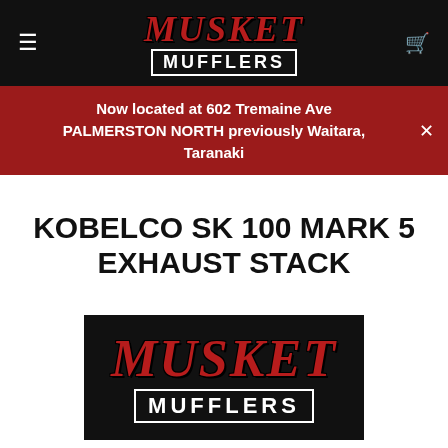Musket Mufflers
Now located at 602 Tremaine Ave PALMERSTON NORTH previously Waitara, Taranaki
KOBELCO SK 100 MARK 5 EXHAUST STACK
[Figure (logo): Musket Mufflers logo on black background]